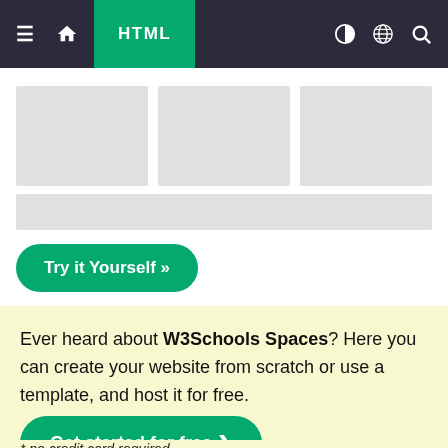HTML
[Figure (screenshot): Three gray placeholder boxes side by side representing a layout preview]
[Figure (screenshot): One gray placeholder bar beneath the three boxes]
Try it Yourself »
Ever heard about W3Schools Spaces? Here you can create your website from scratch or use a template, and host it for free.
Get started for free ❯
* no credit card required